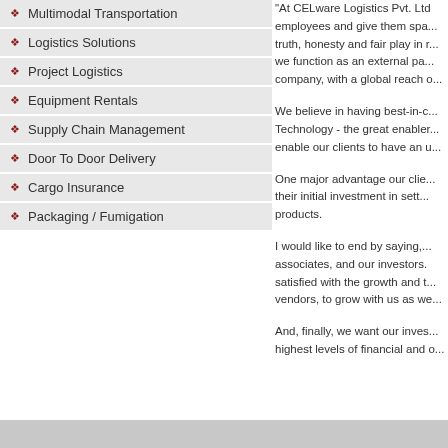Multimodal Transportation
Logistics Solutions
Project Logistics
Equipment Rentals
Supply Chain Management
Door To Door Delivery
Cargo Insurance
Packaging / Fumigation
"At CELware Logistics Pvt. Ltd we respect our employees and give them spa... truth, honesty and fair play in ... we function as an external pa... company, with a global reach o...
We believe in having best-in-c... Technology - the great enabler... enable our clients to have an u...
One major advantage our clie... their initial investment in sett... products.
I would like to end by saying,... associates, and our investors... satisfied with the growth and ... vendors, to grow with us as we...
And, finally, we want our inves... highest levels of financial and o...